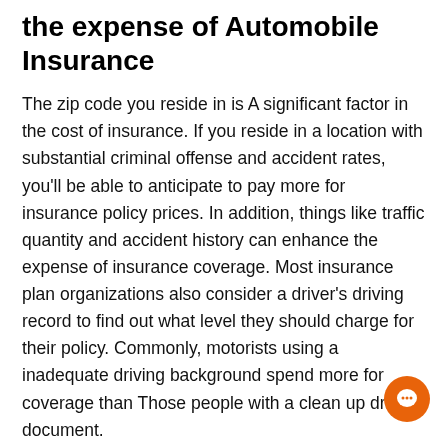the expense of Automobile Insurance
The zip code you reside in is A significant factor in the cost of insurance. If you reside in a location with substantial criminal offense and accident rates, you'll be able to anticipate to pay more for insurance policy prices. In addition, things like traffic quantity and accident history can enhance the expense of insurance coverage. Most insurance plan organizations also consider a driver's driving record to find out what level they should charge for their policy. Commonly, motorists using a inadequate driving background spend more for coverage than Those people with a clean up driving document.
Price of car coverage
Car insurance policies has risen by $50 – $one hundred in the final 5 years, as health treatment charges are already increasing. Motorists may also be required to have uninsured and PIP coverage, that are over-ordinary point out